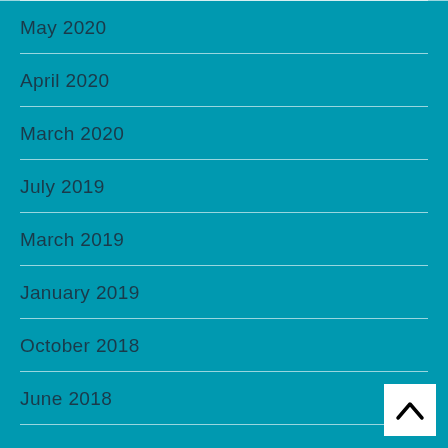May 2020
April 2020
March 2020
July 2019
March 2019
January 2019
October 2018
June 2018